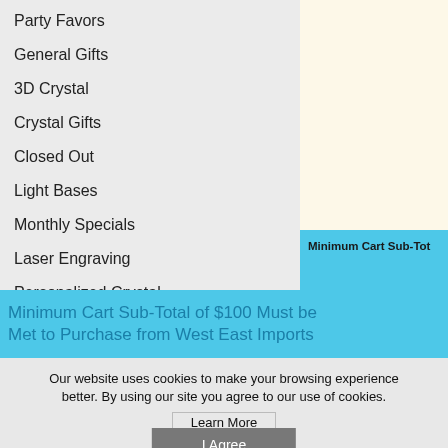Party Favors
General Gifts
3D Crystal
Crystal Gifts
Closed Out
Light Bases
Monthly Specials
Laser Engraving
Personalized Crystal
Minimum Cart Sub-Tot
Minimum Cart Sub-Total of $100 Must be Met to Purchase from West East Imports
Our website uses cookies to make your browsing experience better. By using our site you agree to our use of cookies.
Learn More
I Agree